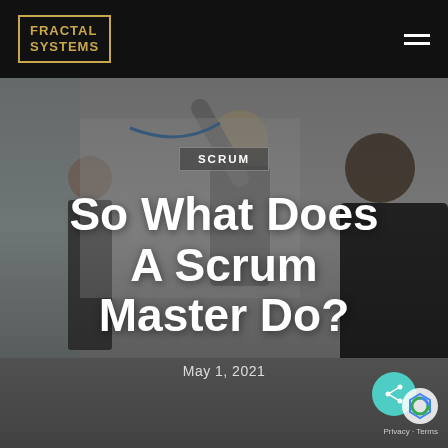FRACTAL SYSTEMS
[Figure (photo): Background photo of people at a whiteboard in an office/training setting, overlaid with dark semi-transparent gradient]
SCRUM
So What Does A Scrum Master Do?
May 1, 2021